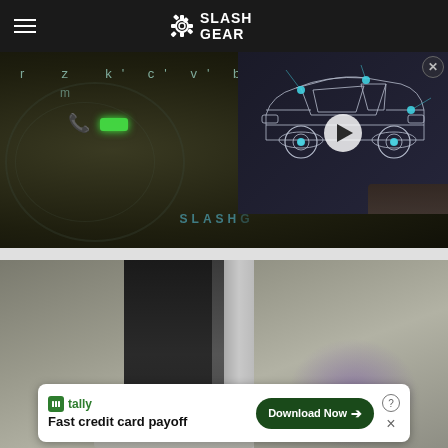SlashGear
[Figure (screenshot): Close-up photo of a dark keyboard with glowing green backlight key and teal/green key labels. SlashGear watermark visible. Video overlay thumbnail showing a wireframe car with a play button, on the right side.]
[Figure (photo): Close-up photo of a cylindrical device (possibly a speaker or smart home device) in dark and silver tones against a gray background with a purple light glow in the bottom right.]
tally — Fast credit card payoff — Download Now →